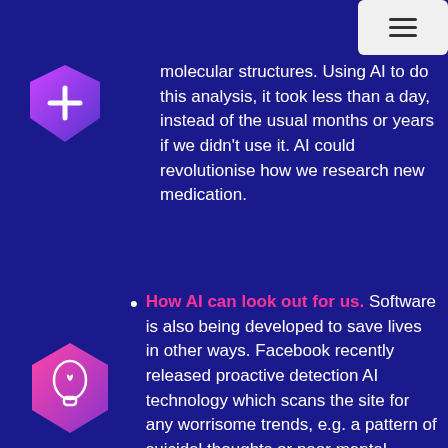[Figure (illustration): Navigation menu button (hamburger icon) in a light gray rounded rectangle in the top right corner]
[Figure (illustration): Purple hexagonal shield icon with a plus/cross medical symbol, top left area]
molecular structures. Using AI to do this analysis, it took less than a day, instead of the usual months or years if we didn't use it. AI could revolutionise how we research new medication.
How AI can look out for us. Software is also being developed to save lives in other ways. Facebook recently released proactive detection AI technology which scans the site for any worrisome trends, e.g. a pattern of suicidal thoughts or poor mental
[Figure (illustration): Pink/purple hexagonal icon with a human head silhouette containing a heart symbol, bottom left area]